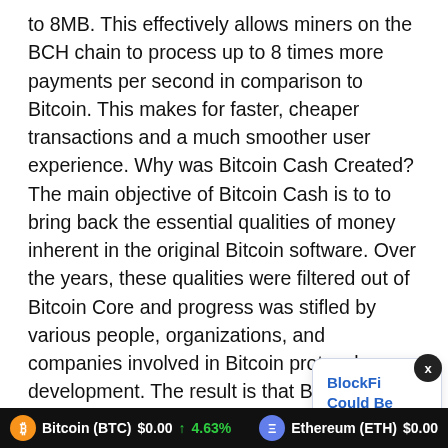to 8MB. This effectively allows miners on the BCH chain to process up to 8 times more payments per second in comparison to Bitcoin. This makes for faster, cheaper transactions and a much smoother user experience. Why was Bitcoin Cash Created? The main objective of Bitcoin Cash is to to bring back the essential qualities of money inherent in the original Bitcoin software. Over the years, these qualities were filtered out of Bitcoin Core and progress was stifled by various people, organizations, and companies involved in Bitcoin protocol development. The result is that Bitcoin Core is currently unusable as money due to increasingly high fees per transactions and transfer times taking hours to comple
[Figure (screenshot): Website UI showing tabs: Chart (active, with trend icon), Calculator (with grid icon), Historical Data (with clock icon). Below is an Exchange row with bar chart icon and partial text. A popup notification card overlaps on the right: 'BlockFi Could Be Acquired by FTX.US for Only $15M: Report' with timestamp '4 hours ago'. A close (X) button is in the top-right of the popup. A black ticker bar at the bottom shows Bitcoin (BTC) $0.00 with green up arrow and 4.63%, and Ethereum (ETH) $0.00.]